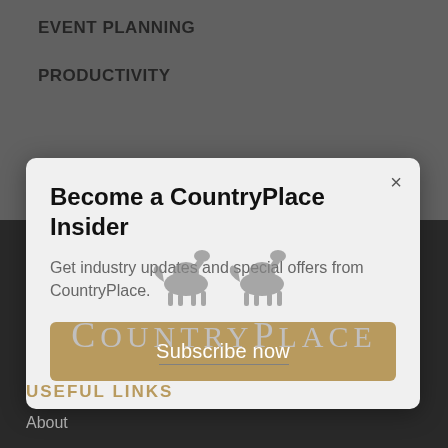EVENT PLANNING
PRODUCTIVITY
Become a CountryPlace Insider
Get industry updates and special offers from CountryPlace.
Subscribe now
[Figure (logo): CountryPlace logo with horse silhouette and brand name text]
USEFUL LINKS
About